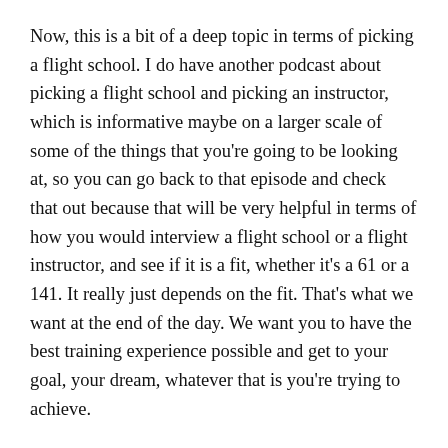Now, this is a bit of a deep topic in terms of picking a flight school. I do have another podcast about picking a flight school and picking an instructor, which is informative maybe on a larger scale of some of the things that you're going to be looking at, so you can go back to that episode and check that out because that will be very helpful in terms of how you would interview a flight school or a flight instructor, and see if it is a fit, whether it's a 61 or a 141. It really just depends on the fit. That's what we want at the end of the day. We want you to have the best training experience possible and get to your goal, your dream, whatever that is you're trying to achieve.
That is the number one goal that we are after. Okay, so Part 61 pros. I already said that Part 61 is less restrictive. You can basically roll with the opportunities to teach, and so if I'm in a lesson with a student in Part 61, then I don't have to necessarily stick to a syllabus, so if an opportunity comes up